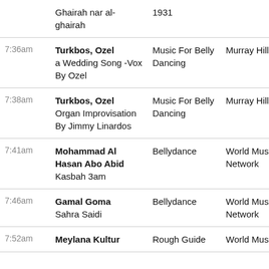| Time | Artist / Track | Album | Label |
| --- | --- | --- | --- |
|  | Ghairah nar al-ghairah | 1931 |  |
| 7:36am | Turkbos, Ozel
a Wedding Song -Vox By Ozel | Music For Belly Dancing | Murray Hill |
| 7:38am | Turkbos, Ozel
Organ Improvisation By Jimmy Linardos | Music For Belly Dancing | Murray Hill |
| 7:41am | Mohammad Al Hasan Abo Abid  Kasbah 3am | Bellydance | World Music Network |
| 7:46am | Gamal Goma
Sahra Saidi | Bellydance | World Music Network |
| 7:52am | Meylana Kultur | Rough Guide | World Music |